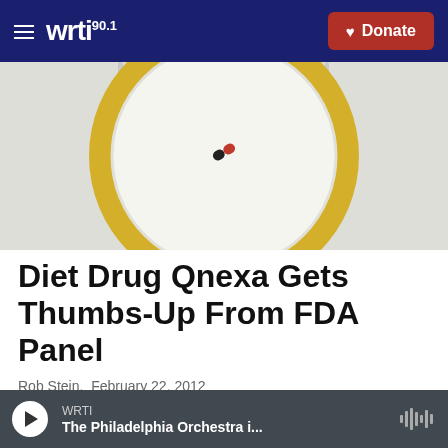WRTI 90.1  Donate
[Figure (photo): A white plate with a yellow rim sits on a light background with silverware on each side. A single capsule pill (red and black) is centered on the plate, viewed from above.]
Diet Drug Qnexa Gets Thumbs-Up From FDA Panel
Rob Stein,  February 22, 2012
In a reversal, a panel of experts is advising the Food and Drug Administration to approve Qnexa, a weight-loss pill, that was rejected in 2010. The potential benefits for overweight people exceed the
WRTI  The Philadelphia Orchestra i...